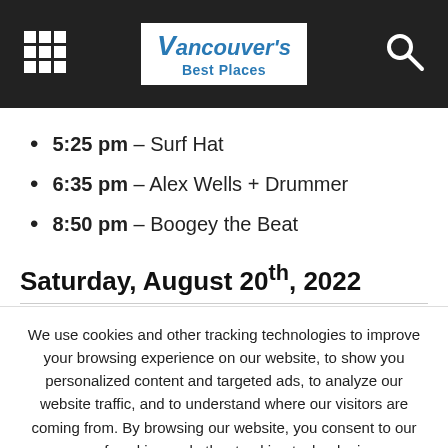Vancouver's Best Places
5:25 pm – Surf Hat
6:35 pm – Alex Wells + Drummer
8:50 pm – Boogey the Beat
Saturday, August 20th, 2022
We use cookies and other tracking technologies to improve your browsing experience on our website, to show you personalized content and targeted ads, to analyze our website traffic, and to understand where our visitors are coming from. By browsing our website, you consent to our use of cookies and other tracking technologies.